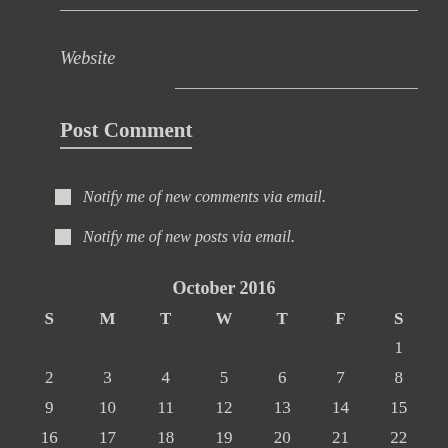Website
Post Comment
Notify me of new comments via email.
Notify me of new posts via email.
| S | M | T | W | T | F | S |
| --- | --- | --- | --- | --- | --- | --- |
|  |  |  |  |  |  | 1 |
| 2 | 3 | 4 | 5 | 6 | 7 | 8 |
| 9 | 10 | 11 | 12 | 13 | 14 | 15 |
| 16 | 17 | 18 | 19 | 20 | 21 | 22 |